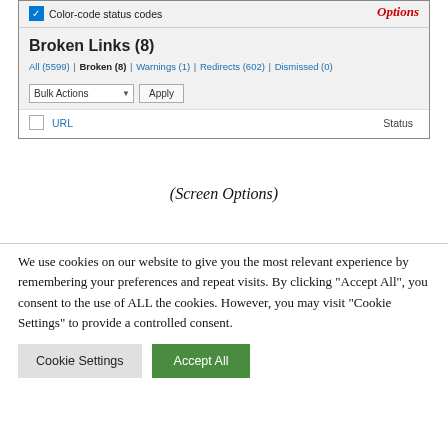[Figure (screenshot): WordPress broken link checker plugin interface showing a panel with 'Color-code status codes' checkbox, 'Broken Links (8)' heading, filter links (All 5599, Broken 8, Warnings 1, Redirects 602, Dismissed 0), Bulk Actions dropdown, Apply button, and table header row with URL and Status columns. Red italic 'Options' label in top right corner.]
(Screen Options)
We use cookies on our website to give you the most relevant experience by remembering your preferences and repeat visits. By clicking "Accept All", you consent to the use of ALL the cookies. However, you may visit "Cookie Settings" to provide a controlled consent.
Cookie Settings   Accept All